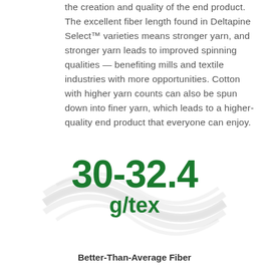the creation and quality of the end product. The excellent fiber length found in Deltapine Select™ varieties means stronger yarn, and stronger yarn leads to improved spinning qualities — benefiting mills and textile industries with more opportunities. Cotton with higher yarn counts can also be spun down into finer yarn, which leads to a higher-quality end product that everyone can enjoy.
[Figure (infographic): Decorative swirl/wave graphic behind large green text showing '30-32.4 g/tex' indicating fiber strength range.]
Better-Than-Average Fiber